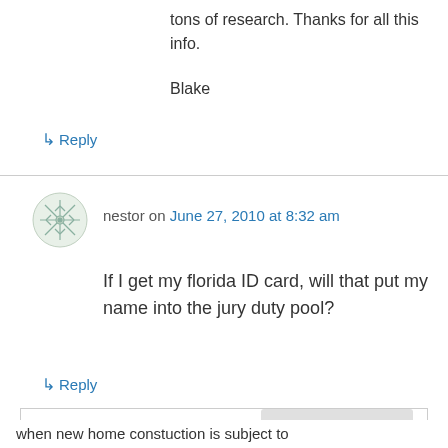tons of research. Thanks for all this info.
Blake
↳ Reply
nestor on June 27, 2010 at 8:32 am
If I get my florida ID card, will that put my name into the jury duty pool?
↳ Reply
Privacy & Cookies: This site uses cookies. By continuing to use this website, you agree to their use.
To find out more, including how to control cookies, see here: Cookie Policy
Close and accept
when new home constuction is subject to